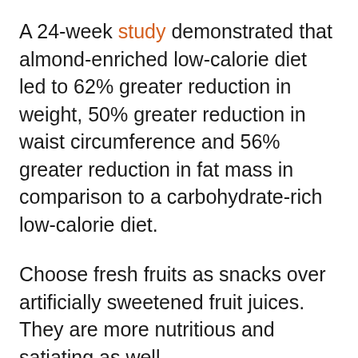A 24-week study demonstrated that almond-enriched low-calorie diet led to 62% greater reduction in weight, 50% greater reduction in waist circumference and 56% greater reduction in fat mass in comparison to a carbohydrate-rich low-calorie diet.
Choose fresh fruits as snacks over artificially sweetened fruit juices. They are more nutritious and satiating as well.
What does this mean? Choose your snacks wisely. Opting for high protein snacks like yogurt or